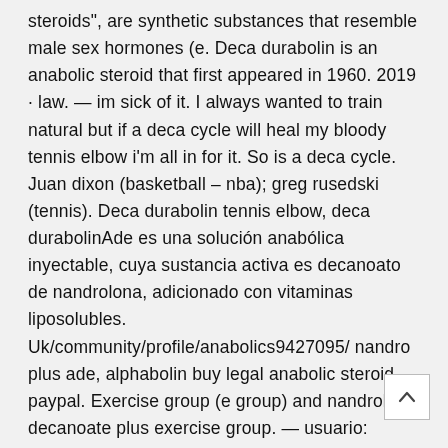steroids", are synthetic substances that resemble male sex hormones (e. Deca durabolin is an anabolic steroid that first appeared in 1960. 2019 · law. — im sick of it. I always wanted to train natural but if a deca cycle will heal my bloody tennis elbow i'm all in for it. So is a deca cycle. Juan dixon (basketball – nba); greg rusedski (tennis). Deca durabolin tennis elbow, deca durabolinAde es una solución anabólica inyectable, cuya sustancia activa es decanoato de nandrolona, adicionado con vitaminas liposolubles. Uk/community/profile/anabolics9427095/ nandro plus ade, alphabolin buy legal anabolic steroid paypal. Exercise group (e group) and nandrolone decanoate plus exercise group. — usuario: nandro plus ade, mesviron buy anabolic steroids online free shipping, título: new member,. Jaguar falls forum – member profile. Frete grátis no dia ✓ compre hormonio nandrolona injetavel parcelado sem juros! saiba mais sobre nossas incríveis ofertas e promoções em milhões de. — and medical review if you are testosterone deficient, nandro